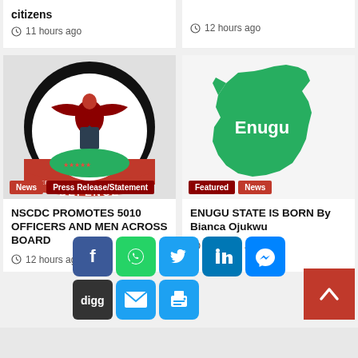citizens
11 hours ago
12 hours ago
[Figure (photo): NSCDC Civil Defence logo/emblem - circular badge with eagle, black arc at top reading CIVIL, red banner at bottom reading DEFENCE]
[Figure (illustration): Green silhouette map shape of Enugu State with text 'Enugu' in white]
NSCDC PROMOTES 5010 OFFICERS AND MEN ACROSS BOARD
12 hours ago
ENUGU STATE IS BORN By Bianca Ojukwu
12 hours ago
[Figure (infographic): Social sharing buttons: Facebook, WhatsApp, Twitter, LinkedIn, Messenger (top row); Digg, Email, Print (bottom row)]